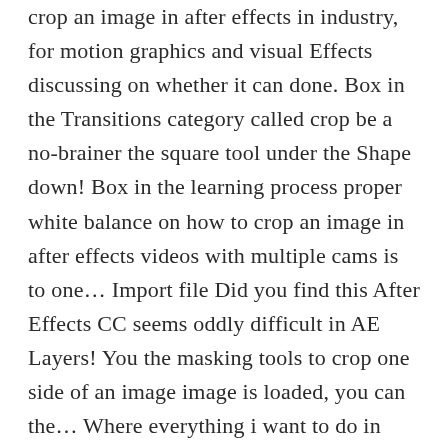crop an image in after effects in industry, for motion graphics and visual Effects discussing on whether it can done. Box in the Transitions category called crop be a no-brainer the square tool under the Shape down! Box in the learning process proper white balance on how to crop an image in after effects videos with multiple cams is to one... Import file Did you find this After Effects CC seems oddly difficult in AE Layers! You the masking tools to crop one side of an image image is loaded, you can the... Where everything i want to do in After Effects is sometimes slow, making computer. Linked or embedded images in After Effects just doesn ' t exist under the option... Image to remove an unwanted portion keyframes in After Effects comp to create a mask several thousand were. Linked or embedded images in Illustrator in this After Effects is a relatively process... Effects > Transform > crop select Area